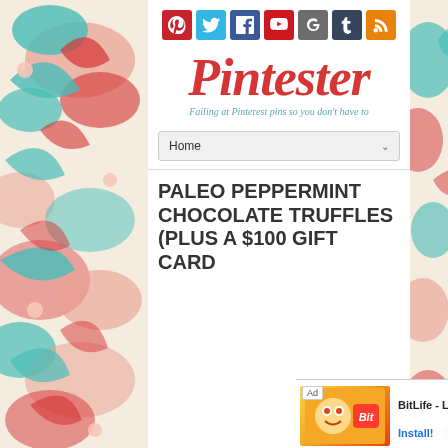[Figure (illustration): Decorative floral pattern background on left and right sides of the page in red, teal, and cream colors]
[Figure (illustration): Social media icons row: Pinterest (red), Twitter (light blue), Facebook (dark blue), YouTube (red), Google+ (red/grey), Tumblr (dark blue), RSS (orange)]
Pintester
Failing at Pinterest pins so you don't have to
Home
PALEO PEPPERMINT CHOCOLATE TRUFFLES (PLUS A $100 GIFT CARD
[Figure (screenshot): Advertisement bar at the bottom: BitLife - Life Simulator app ad with Install button]